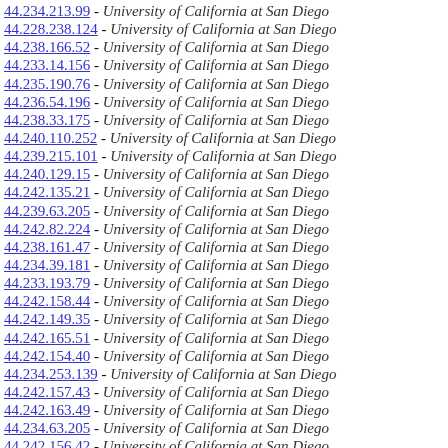44.234.213.99 - University of California at San Diego
44.228.238.124 - University of California at San Diego
44.238.166.52 - University of California at San Diego
44.233.14.156 - University of California at San Diego
44.235.190.76 - University of California at San Diego
44.236.54.196 - University of California at San Diego
44.238.33.175 - University of California at San Diego
44.240.110.252 - University of California at San Diego
44.239.215.101 - University of California at San Diego
44.240.129.15 - University of California at San Diego
44.242.135.21 - University of California at San Diego
44.239.63.205 - University of California at San Diego
44.242.82.224 - University of California at San Diego
44.238.161.47 - University of California at San Diego
44.234.39.181 - University of California at San Diego
44.233.193.79 - University of California at San Diego
44.242.158.44 - University of California at San Diego
44.242.149.35 - University of California at San Diego
44.242.165.51 - University of California at San Diego
44.242.154.40 - University of California at San Diego
44.234.253.139 - University of California at San Diego
44.242.157.43 - University of California at San Diego
44.242.163.49 - University of California at San Diego
44.234.63.205 - University of California at San Diego
44.242.156.42 - University of California at San Diego
44.242.152.38 - University of California at San Diego
44.242.159.45 - University of California at San Diego
44.242.164.50 - University of California at San Diego
44.234.191.77 - University of California at San Diego
44.240.109.251 - University of California at San Diego
44.242.166.242 - University of California at San Diego